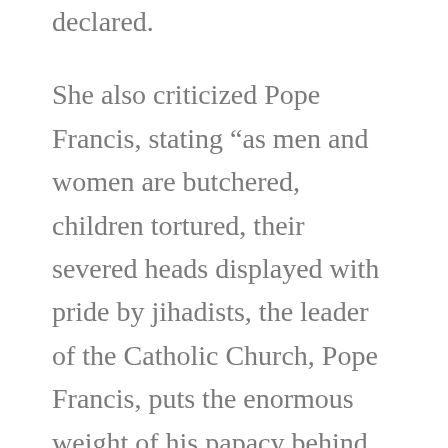declared.
She also criticized Pope Francis, stating “as men and women are butchered, children tortured, their severed heads displayed with pride by jihadists, the leader of the Catholic Church, Pope Francis, puts the enormous weight of his papacy behind the plight of Central American children already in the United States, and he works to normalize US-Cuban relations, and does nothing more than call for constructive dialogue with Muslims over the Christian genocide. Since also also the Catholic Church has